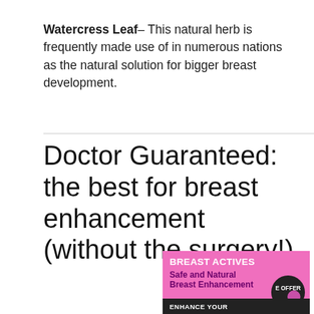Watercress Leaf– This natural herb is frequently made use of in numerous nations as the natural solution for bigger breast development.
Doctor Guaranteed: the best for breast enhancement (without the surgery!)
[Figure (infographic): Advertisement for 'Breast Actives' product. Pink background with white bold text 'BREAST ACTIVES', purple bold text 'Safe and Natural Breast Enhancement', a circular badge reading 'OFFER', black bar at bottom with text 'ENHANCE YOUR', and a pill/capsule image.]